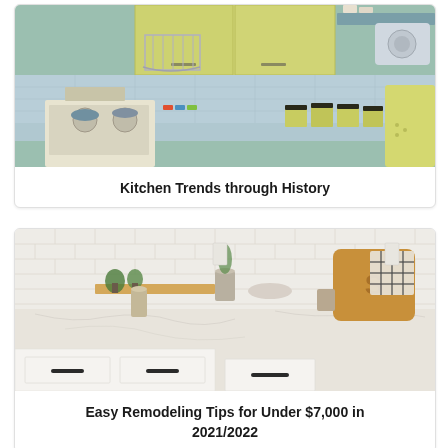[Figure (photo): Retro-style kitchen with yellow-green cabinets, blue-green tile backsplash, wall-mounted dish rack, vintage stove, and yellow canisters on counter]
Kitchen Trends through History
[Figure (photo): Modern farmhouse kitchen with white cabinets with black bar handles, marble-look countertops, decorative shelves with small plants, and wooden cutting board accessories]
Easy Remodeling Tips for Under $7,000 in 2021/2022